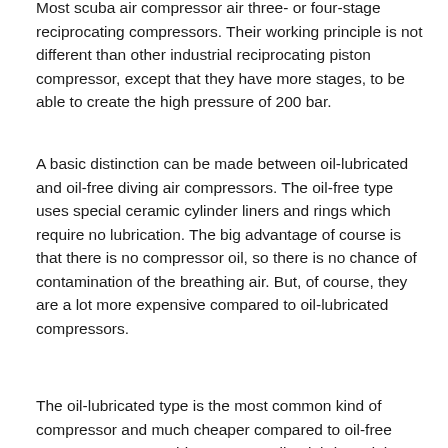Most scuba air compressor air three- or four-stage reciprocating compressors. Their working principle is not different than other industrial reciprocating piston compressor, except that they have more stages, to be able to create the high pressure of 200 bar.
A basic distinction can be made between oil-lubricated and oil-free diving air compressors. The oil-free type uses special ceramic cylinder liners and rings which require no lubrication. The big advantage of course is that there is no compressor oil, so there is no chance of contamination of the breathing air. But, of course, they are a lot more expensive compared to oil-lubricated compressors.
The oil-lubricated type is the most common kind of compressor and much cheaper compared to oil-free compressor types. This type uses oil to lubricated the moving parts and the inside of the cylinder. This means that the breathing air comes in contact with the oil, and there will always be a little oil that leaves the compressor together with the air (called oil-cary-over).
This oil (although a very small amount per liter air) needs to be removed, for the obvious reasons. This is done by the use of special filters. There are filters for dust, water and oil.